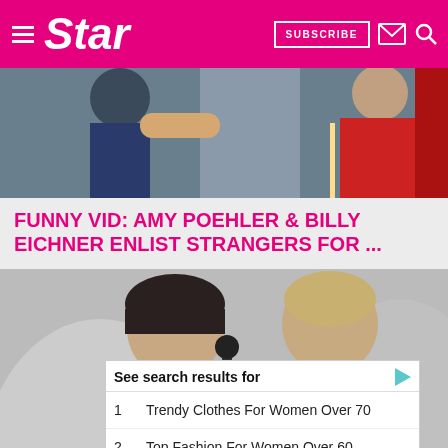Star | SUBSCRIBE
[Figure (photo): Top partial photo showing people at an event, colorful outfits visible]
FUNNY VID: AMY POEHLER & BILLY EICHNER ENLIST STRANGERS FOR ...
[Figure (photo): Two women at a podium/stage, one dark-haired and one blonde, at what appears to be an awards ceremony]
See search results for
1   Trendy Clothes For Women Over 70
2   Top Fashion For Women Over 60
Yahoo! Search | Sponsored